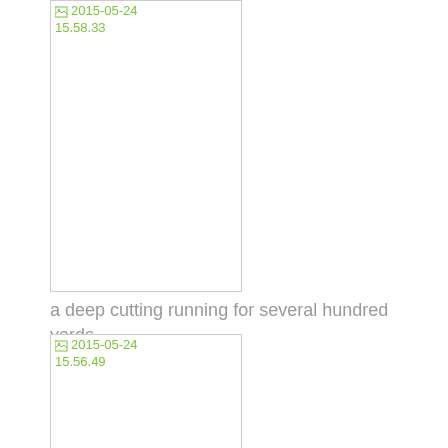[Figure (photo): Broken image placeholder with timestamp label '2015-05-24 15.58.33' in green]
a deep cutting running for several hundred yards
[Figure (photo): Broken image placeholder with timestamp label '2015-05-24 15.56.49' in green]